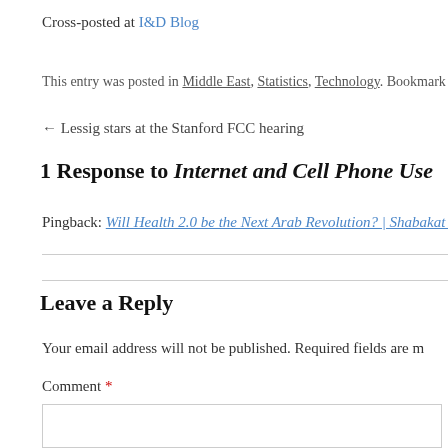Cross-posted at I&D Blog
This entry was posted in Middle East, Statistics, Technology. Bookmark the p
← Lessig stars at the Stanford FCC hearing
1 Response to Internet and Cell Phone Use
Pingback: Will Health 2.0 be the Next Arab Revolution? | Shabakat Al Hakim
Leave a Reply
Your email address will not be published. Required fields are m
Comment *